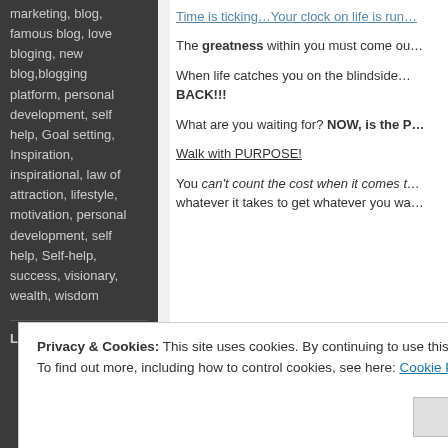marketing, blog, famous blog, love bloging, new blog,blogging platform, personal development, self help, Goal setting, Inspiration, inspirational, law of attraction, lifestyle, motivation, personal development, self help, Self-help, success, visionary, wealth, wisdom
Leave a comment
Time is ticking…Your clock on life is run…
The greatness within you must come ou…
When life catches you on the blindside… BACK!!!
What are you waiting for? NOW, is the P…
Walk with PURPOSE!
You can't count the cost when it comes t… whatever it takes to get whatever you wa…
Privacy & Cookies: This site uses cookies. By continuing to use this website, you agree to their use. To find out more, including how to control cookies, see here: Cookie Policy
Close and accept
Effort…cannot be judged…